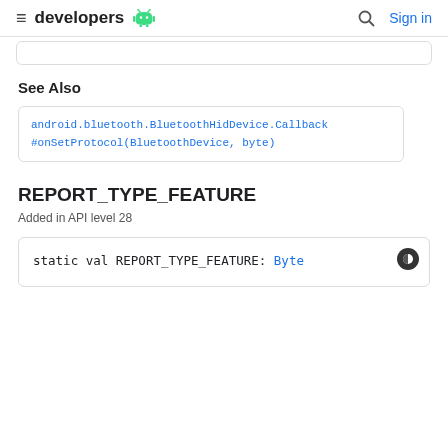developers [android] Sign in
See Also
android.bluetooth.BluetoothHidDevice.Callback#onSetProtocol(BluetoothDevice, byte)
REPORT_TYPE_FEATURE
Added in API level 28
static val REPORT_TYPE_FEATURE: Byte